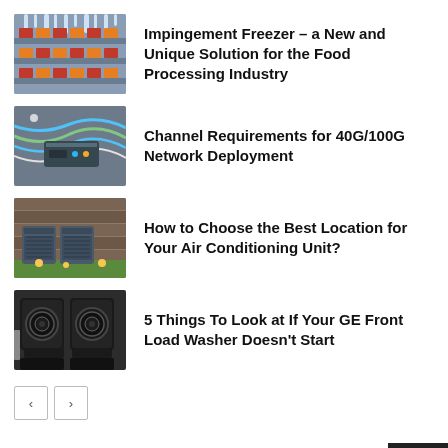[Figure (photo): Industrial freezer with icicles and food trays]
Impingement Freezer – a New and Unique Solution for the Food Processing Industry
[Figure (photo): Network cables and equipment for 40G/100G deployment]
Channel Requirements for 40G/100G Network Deployment
[Figure (photo): Air conditioning units outdoors with plants]
How to Choose the Best Location for Your Air Conditioning Unit?
[Figure (photo): GE front load washer and dryer set]
5 Things To Look at If Your GE Front Load Washer Doesn't Start